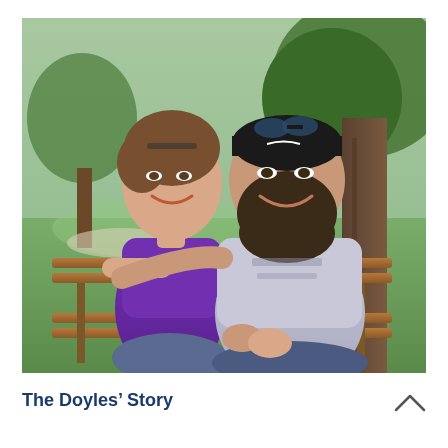[Figure (photo): A couple sitting on a wooden park bench outdoors. A woman with short brown hair wearing a purple tank top sits on the left, smiling. A large bearded man wearing a dark bandana, sunglasses on his head, and a gray graphic t-shirt sits on the right with his arm around the woman, also smiling. Trees and a green park are visible in the background.]
The Doyles' Story